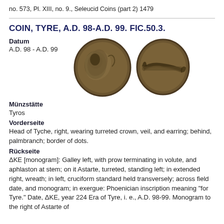no. 573, Pl. XIII, no. 9., Seleucid Coins (part 2) 1479
COIN, TYRE, A.D. 98-A.D. 99. FIC.50.3.
Datum
A.D. 98 - A.D. 99
[Figure (photo): Two ancient bronze coins from Tyre. Left coin shows head of Tyche facing right wearing turreted crown, veil, and earring. Right coin shows a galley with Astarte.]
Münzstätte
Tyros
Vorderseite
Head of Tyche, right, wearing turreted crown, veil, and earring; behind, palmbranch; border of dots.
Rückseite
ΔKE [monogram]: Galley left, with prow terminating in volute, and aphlaston at stem; on it Astarte, turreted, standing left; in extended right, wreath; in left, cruciform standard held transversely; across field date, and monogram; in exergue: Phoenician inscription meaning "for Tyre." Date, ΔKE, year 224 Era of Tyre, i. e., A.D. 98-99. Monogram to the right of Astarte of